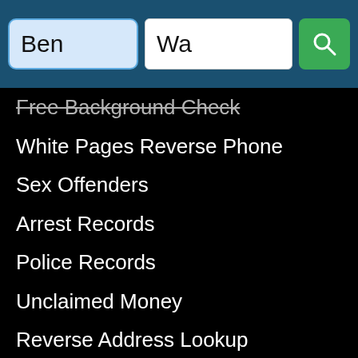[Figure (screenshot): Search bar with name input field showing 'Ben', state input showing 'Wa', and green search button with magnifying glass icon]
Free Background Check
White Pages Reverse Phone
Sex Offenders
Arrest Records
Police Records
Unclaimed Money
Reverse Address Lookup
Criminal Records
Public Records
Mugshots
Inmate Search
Email Lookup
True People Search